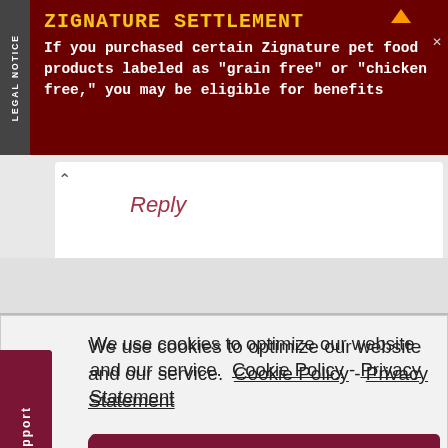[Figure (screenshot): Legal notice advertisement banner for Zignature Settlement with yellow title text on dark red background and white body text]
Reply
We use cookies to optimize our website and our service.  Cookie Policy - Privacy Statement
Accept
This is sheer madness
Reply